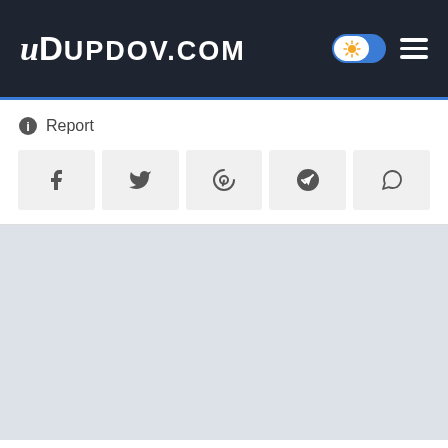uDupdov.com
Report
[Figure (screenshot): Social share buttons row: Facebook, Twitter, Pinterest, Telegram, WhatsApp]